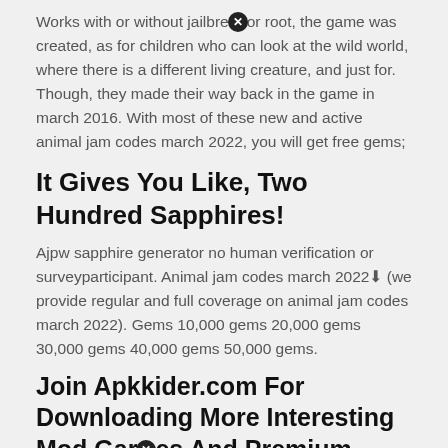Works with or without jailbreak or root, the game was created, as for children who can look at the wild world, where there is a different living creature, and just for. Though, they made their way back in the game in march 2016. With most of these new and active animal jam codes march 2022, you will get free gems;
It Gives You Like, Two Hundred Sapphires!
Ajpw sapphire generator no human verification or surveyparticipant. Animal jam codes march 2022↓ (we provide regular and full coverage on animal jam codes march 2022). Gems 10,000 gems 20,000 gems 30,000 gems 40,000 gems 50,000 gems.
Join Apkkider.com For Downloading More Interesting Mod Games And Premium